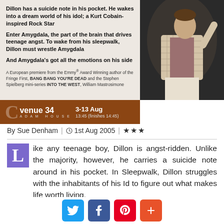[Figure (photo): Theater production poster for Sleepwalk. Left side shows text on light background with venue information. Right side shows a person in a checkered jacket on stage. Brown venue bar at bottom reads 'venue 34, ADAM HOUSE, 3-13 Aug, 13:45 (finishes 14:45)'.]
By Sue Denham  |  1st Aug 2005  |  ★★★
Like any teenage boy, Dillon is angst-ridden. Unlike the majority, however, he carries a suicide note around in his pocket. In Sleepwalk, Dillon struggles with the inhabitants of his Id to figure out what makes life worth living.
William Mastrosimone's script is funny and